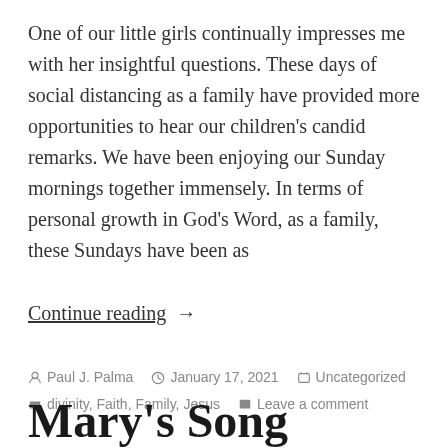One of our little girls continually impresses me with her insightful questions. These days of social distancing as a family have provided more opportunities to hear our children's candid remarks. We have been enjoying our Sunday mornings together immensely. In terms of personal growth in God's Word, as a family, these Sundays have been as
Continue reading →
Paul J. Palma  January 17, 2021  Uncategorized  divinity, Faith, Family, Jesus  Leave a comment
Mary's Song